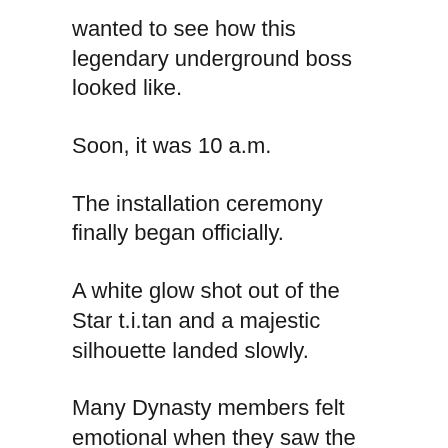wanted to see how this legendary underground boss looked like.
Soon, it was 10 a.m.
The installation ceremony finally began officially.
A white glow shot out of the Star t.i.tan and a majestic silhouette landed slowly.
Many Dynasty members felt emotional when they saw the silhouette. All of them recognized the person as soon as he appeared.
As the silhouette stood still in the middle of the airs.h.i.+p platform and the Star t.i.tan's